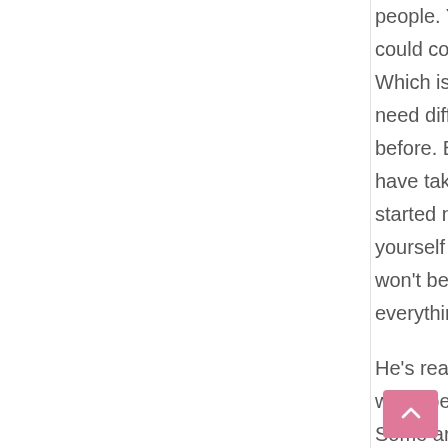people. You never know what opportunities could come about. And at a certain point," Which is kind of the point that I'm at, "You'll need different outlets than you've had before. Between mentors and people who have taken similar roles. People who have started new ideas. You'll need to surround yourself with a different type of people. You won't be able to talk to your team about everything."
He's really encouraged me to respond when people reach out to me on LinkedIn. Some are a little bit strange. Lots of people are just trying to get new